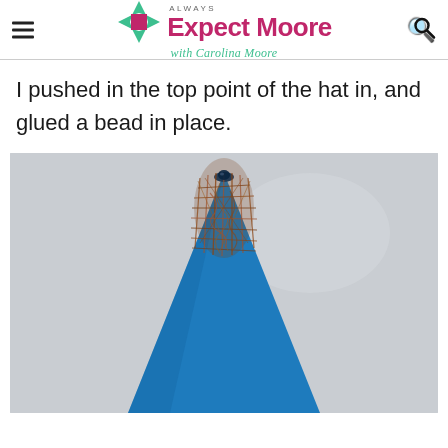Always Expect Moore with Carolina Moore
I pushed in the top point of the hat in, and glued a bead in place.
[Figure (photo): Close-up photo of the top of a blue cone-shaped hat with a dark bead pressed into the tip, surrounded by bronze/copper wire mesh netting, against a light gray background.]